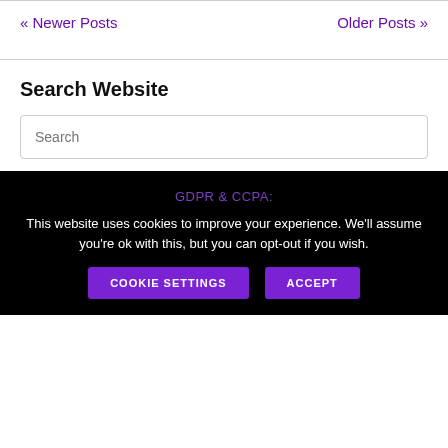« Newer Posts
Older Posts »
Search Website
Search
GDPR & CCPA:
This website uses cookies to improve your experience. We'll assume you're ok with this, but you can opt-out if you wish.
COOKIE SETTINGS
ACCEPT